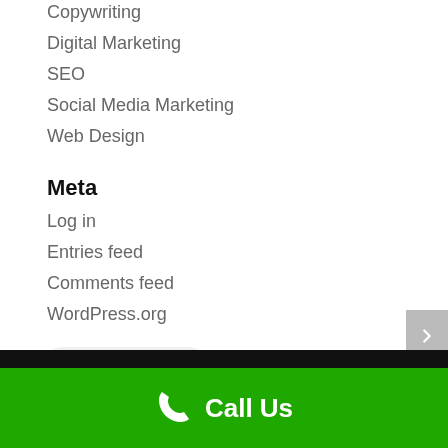Copywriting
Digital Marketing
SEO
Social Media Marketing
Web Design
Meta
Log in
Entries feed
Comments feed
WordPress.org
[Figure (other): WhatsApp us button with green WhatsApp icon]
Call Us